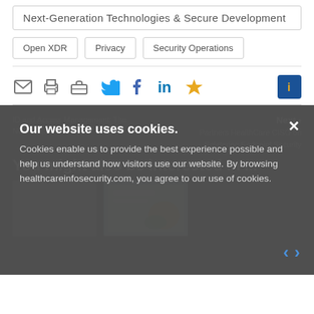Next-Generation Technologies & Secure Development
Open XDR
Privacy
Security Operations
[Figure (infographic): Social sharing icons: email, print, briefcase, Twitter, Facebook, LinkedIn, star/bookmark, and an info button]
Our website uses cookies. Cookies enable us to provide the best experience possible and help us understand how visitors use our website. By browsing healthcareinfosecurity.com, you agree to our use of cookies.
Next ›
ID and Access Management: The Next Steps
Partners HealthCare CISO on Bolstering Endpoint Security
You might also be interested in ...
[Figure (photo): Thumbnail image (dark)]
[Figure (illustration): Thumbnail image with colorful illustration on light background]